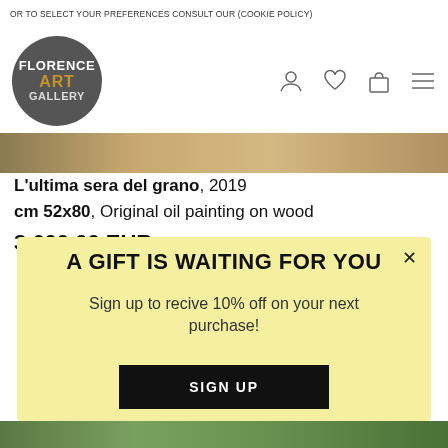OR TO SELECT YOUR PREFERENCES CONSULT OUR (COOKIE POLICY)
[Figure (logo): Florence Art Gallery logo - dark circle with FLORENCE in white, ART in orange/gold, GALLERY in light grey]
[Figure (photo): Cropped painting image strip - warm brown/golden tones]
L'ultima sera del grano, 2019
cm 52x80, Original oil painting on wood
3,600.00 EUR
[Figure (infographic): Yellow popup modal: A GIFT IS WAITING FOR YOU - Sign up to recive 10% off on your next purchase! - SIGN UP button]
[Figure (photo): Bottom strip of another painting image - green/garden tones]